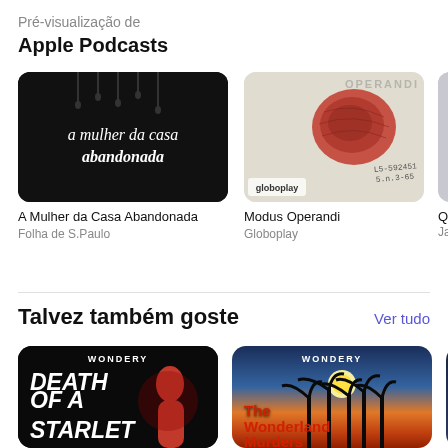Pré-visualização de
Apple Podcasts
[Figure (photo): Podcast cover art: 'A Mulher da Casa Abandonada' - black background with dripping text]
A Mulher da Casa Abandonada
Folha de S.Paulo
[Figure (photo): Podcast cover art: 'Modus Operandi' - fingerprint on document with Globoplay branding]
Modus Operandi
Globoplay
[Figure (photo): Partial podcast cover art - third card partially visible]
Qu...
Jac...
Talvez também goste
Ver tudo
[Figure (photo): Podcast cover art: 'Death of a Starlet' - Wondery black cover with red silhouette and bold white text]
[Figure (photo): Podcast cover art: 'The Wonderland Murders' - Wondery cover with sunset palm tree scene and red title text]
[Figure (photo): Partial third podcast cover art partially visible on right edge]